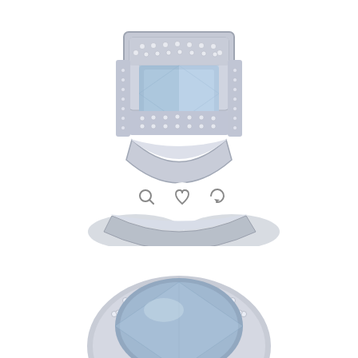[Figure (photo): An 18K white gold aquamarine and diamond cocktail ring photographed from above, showing a blue rectangular aquamarine stone set in a white gold geometric mount encrusted with small diamonds, with three icon buttons overlaid at the bottom (magnify, heart/wishlist, rotate).]
An 18K White Gold Aquamarine and Diamond Cocktail Ring
£3,400.00
[Figure (photo): Bottom portion of a second jewelry item — an oval blue gemstone (aquamarine) surrounded by a diamond-set halo in white gold, partially visible at the bottom of the page.]